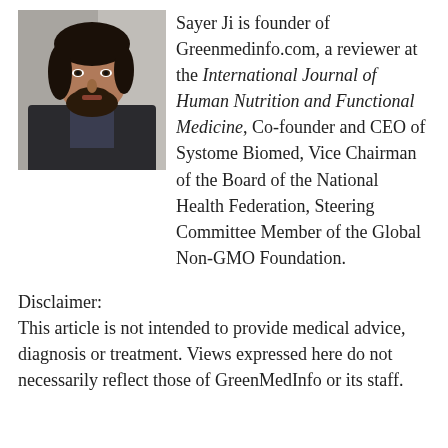[Figure (photo): Headshot photo of Sayer Ji — a man with medium-length dark hair and beard, wearing a dark jacket, against a light background.]
Sayer Ji is founder of Greenmedinfo.com, a reviewer at the International Journal of Human Nutrition and Functional Medicine, Co-founder and CEO of Systome Biomed, Vice Chairman of the Board of the National Health Federation, Steering Committee Member of the Global Non-GMO Foundation.
Disclaimer:
This article is not intended to provide medical advice, diagnosis or treatment. Views expressed here do not necessarily reflect those of GreenMedInfo or its staff.